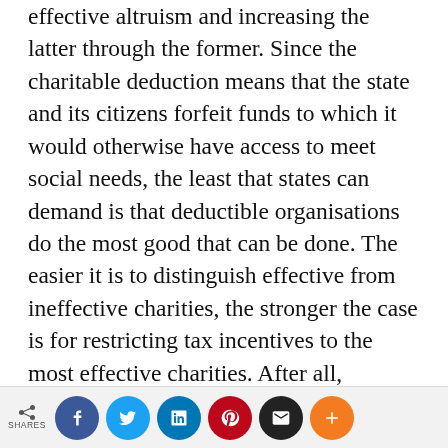effective altruism and increasing the latter through the former. Since the charitable deduction means that the state and its citizens forfeit funds to which it would otherwise have access to meet social needs, the least that states can demand is that deductible organisations do the most good that can be done. The easier it is to distinguish effective from ineffective charities, the stronger the case is for restricting tax incentives to the most effective charities. After all, ineffective charities don't relieve the government of a burden and therefore don't meet the spirit of the deduction. To other effective
[Figure (other): Social share bar with share count label and circular buttons for Facebook, Twitter, LinkedIn, Pinterest, Email, and More (+)]